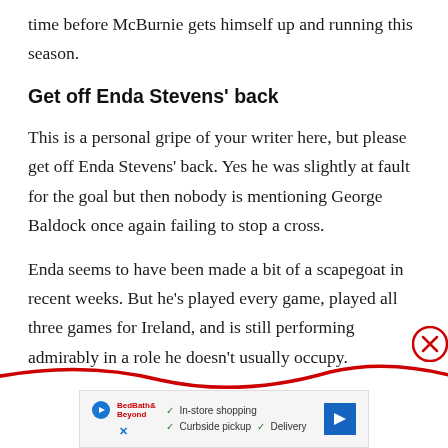time before McBurnie gets himself up and running this season.
Get off Enda Stevens’ back
This is a personal gripe of your writer here, but please get off Enda Stevens’ back. Yes he was slightly at fault for the goal but then nobody is mentioning George Baldock once again failing to stop a cross.
Enda seems to have been made a bit of a scapegoat in recent weeks. But he’s played every game, played all three games for Ireland, and is still performing admirably in a role he doesn’t usually occupy.
[Figure (other): Advertisement banner with play button, logo, checkmarks for In-store shopping, Curbside pickup, Delivery, and a blue navigation arrow icon. A red squiggly line with a close (X) button overlays the bottom of the page.]